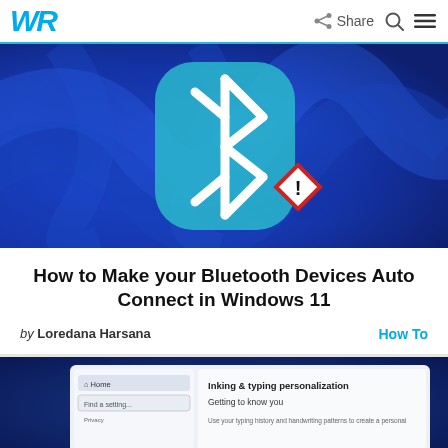WR | Share
[Figure (photo): Bluetooth icon with error/warning diamond overlay on Windows 11 blue wallpaper background]
How to Make your Bluetooth Devices Auto Connect in Windows 11
by Loredana Harsana   How To
[Figure (screenshot): Windows 11 Settings screen showing Inking & typing personalization / Getting to know you]